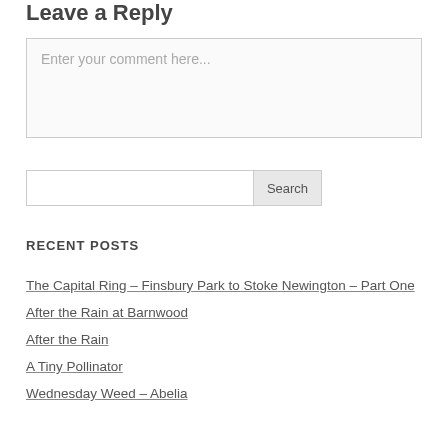Leave a Reply
Enter your comment here...
Search
RECENT POSTS
The Capital Ring – Finsbury Park to Stoke Newington – Part One
After the Rain at Barnwood
After the Rain
A Tiny Pollinator
Wednesday Weed – Abelia